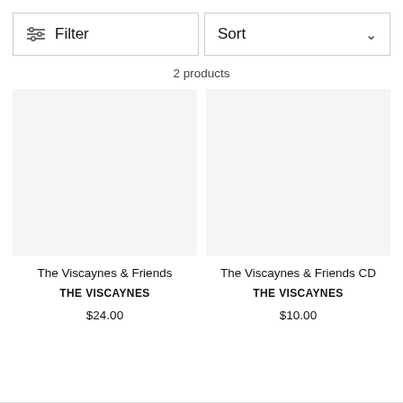Filter
Sort
2 products
The Viscaynes & Friends
THE VISCAYNES
$24.00
The Viscaynes & Friends CD
THE VISCAYNES
$10.00